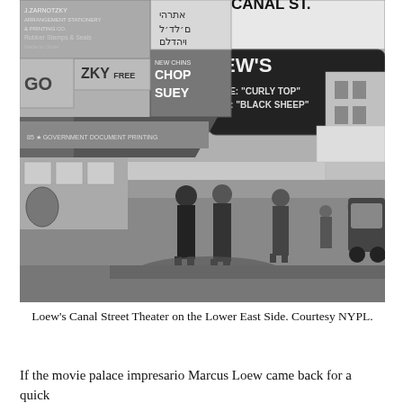[Figure (photo): Black and white historical photograph of Loew's Canal Street Theater on the Lower East Side. The street scene shows busy sidewalks with pedestrians, awnings over storefronts, and prominent signage including 'CANAL ST.', 'LOEW'S', 'NEW CHINS CHOP SUEY', Hebrew text, and movie marquees reading 'CURLY TOP' and 'BLACK SHEEP'. Several people in 1930s-era clothing are visible on the sidewalk.]
Loew's Canal Street Theater on the Lower East Side. Courtesy NYPL.
If the movie palace impresario Marcus Loew came back for a quick